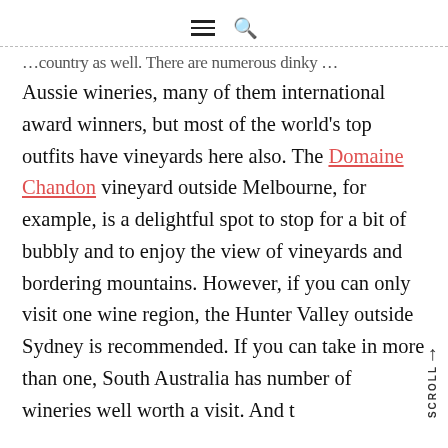☰ 🔍
…country as well. There are numerous dinky Aussie wineries, many of them international award winners, but most of the world's top outfits have vineyards here also. The Domaine Chandon vineyard outside Melbourne, for example, is a delightful spot to stop for a bit of bubbly and to enjoy the view of vineyards and bordering mountains. However, if you can only visit one wine region, the Hunter Valley outside Sydney is recommended. If you can take in more than one, South Australia has number of wineries well worth a visit. And t